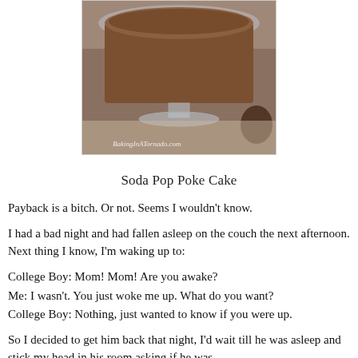[Figure (photo): Photo of a Soda Pop Poke Cake on a glass cake stand, with watermark 'BakingInATornado.com']
Soda Pop Poke Cake
Payback is a bitch. Or not. Seems I wouldn't know.
I had a bad night and had fallen asleep on the couch the next afternoon. Next thing I know, I'm waking up to:
College Boy: Mom! Mom! Are you awake?
Me: I wasn't. You just woke me up. What do you want?
College Boy: Nothing, just wanted to know if you were up.
So I decided to get him back that night, I'd wait till he was asleep and stick my head in his room asking if he was